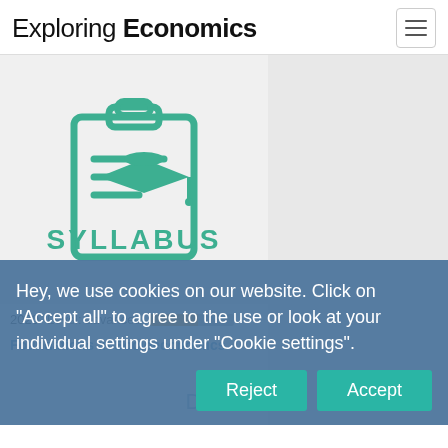Exploring Economics
[Figure (logo): Syllabus icon: clipboard with graduation cap and text SYLLABUS in teal/green color on light gray background]
2020   Level: advanced
Foundations in Socioeconomics
Hey, we use cookies on our website. Click on "Accept all" to agree to the use or look at your individual settings under "Cookie settings".
Reject
Accept
Donate